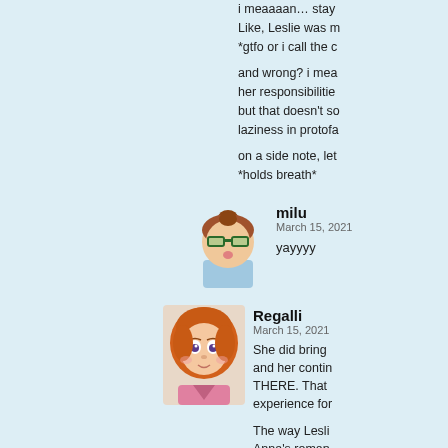[Figure (illustration): Pixel art avatar of a character with green glasses, partially visible at top right]
i meaaaan… stay
Like, Leslie was m
*gtfo or i call the c

and wrong? i mea
her responsibilitie
but that doesn't so
laziness in protоfa

on a side note, let
*holds breath*
[Figure (illustration): Pixel art avatar of milu - character with brown hair bun and green glasses]
milu
March 15, 2021

yayyyy
[Figure (illustration): Illustrated avatar of Regalli - character with orange/red hair]
Regalli
March 15, 2021

She did bring
and her contin
THERE. That
experience for

The way Lesli
Anna's roman
Leslie of herse